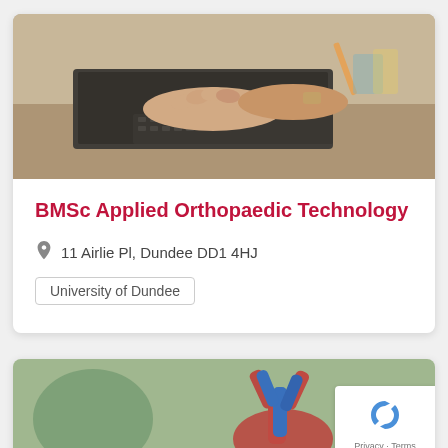[Figure (photo): Photo of two people's hands working on a laptop computer, with stationery items visible in the background]
BMSc Applied Orthopaedic Technology
11 Airlie Pl, Dundee DD1 4HJ
University of Dundee
[Figure (photo): Photo of a person holding a blue and red anatomical model, with blurred background]